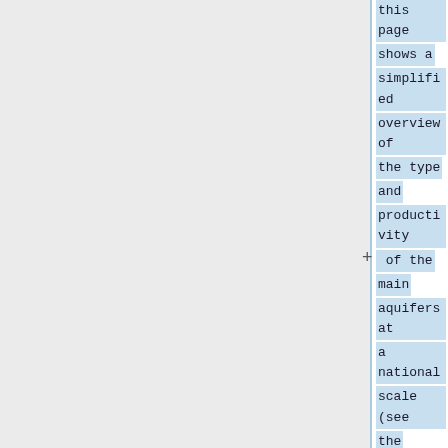this page shows a simplified overview of the type and productivity of the main aquifers at a national scale (see the [[Africa Groundwater Atlas Hydrogeology Maps | Hydrogeology map resource ll f